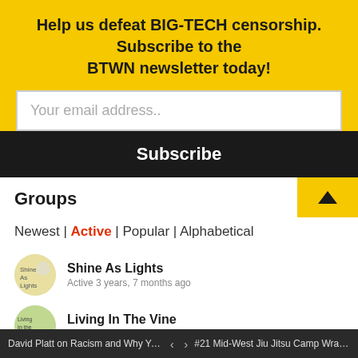Help us defeat BIG-TECH censorship. Subscribe to the BTWN newsletter today!
Your email address..
Subscribe
Groups
Newest | Active | Popular | Alphabetical
Shine As Lights
Active 3 years, 7 months ago
Living In The Vine
Active 3 years, 7 months ago
Semper Reformanda Radio
Active 3 years, 7 months ago
Bible Thumping Wingnut
David Platt on Racism and Why Your Ch... < > #21 Mid-West Jiu Jitsu Camp Wrap Up |...